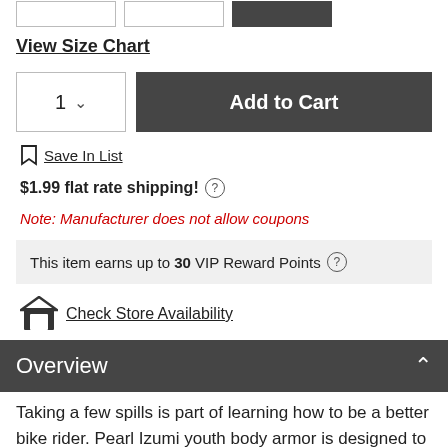[Figure (other): Three size selector buttons at top, two outlined white and one filled dark/black]
View Size Chart
[Figure (other): Quantity selector dropdown showing '1' with chevron, and a dark 'Add to Cart' button]
Save In List
$1.99 flat rate shipping! ⓘ
Note: Manufacturer does not allow coupons
This item earns up to 30 VIP Reward Points ⓘ
Check Store Availability
Overview
Taking a few spills is part of learning how to be a better bike rider. Pearl Izumi youth body armor is designed to stay in place comfortably the whole ride, so it's there when you need it. They are constructed using the same impact-